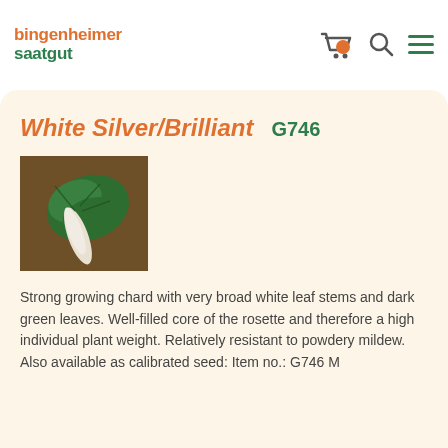bingenheimer saatgut
White Silver/Brilliant  G746
[Figure (photo): Photo of a chard plant leaf with broad white stem and dark green leaves on a wooden surface]
Strong growing chard with very broad white leaf stems and dark green leaves. Well-filled core of the rosette and therefore a high individual plant weight. Relatively resistant to powdery mildew. Also available as calibrated seed: Item no.: G746 M